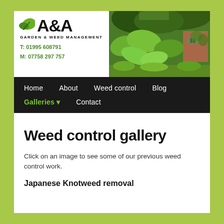[Figure (logo): A&A Garden & Weed Management logo with leaf icon, contact number T: 01995 608791, M: 07758 297 757]
[Figure (photo): Outdoor photo of overgrown garden with large leafy plants and a brick building partially visible in background]
[Figure (screenshot): Navigation bar with links: Home, About, Weed control, Blog, Galleries (active, with dropdown arrow), Contact]
Weed control gallery
Click on an image to see some of our previous weed control work.
Japanese Knotweed removal